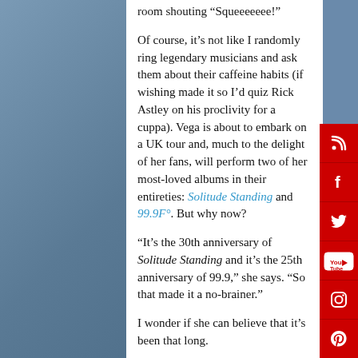room shouting “Squeeeeeee!”
Of course, it’s not like I randomly ring legendary musicians and ask them about their caffeine habits (if wishing made it so I’d quiz Rick Astley on his proclivity for a cuppa). Vega is about to embark on a UK tour and, much to the delight of her fans, will perform two of her most-loved albums in their entireties: Solitude Standing and 99.9F°. But why now?
“It’s the 30th anniversary of Solitude Standing and it’s the 25th anniversary of 99.9,” she says. “So that made it a no-brainer.”
I wonder if she can believe that it’s been that long.
“Yeah,” she laughs. “I can. I don’t really feel the passing of time but I can believe it when I look back on everything’s that’s happened inbetween. I say ‘yep, that’s about it’. But it